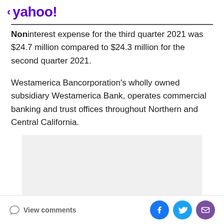< yahoo!
Noninterest expense for the third quarter 2021 was $24.7 million compared to $24.3 million for the second quarter 2021.
Westamerica Bancorporation's wholly owned subsidiary Westamerica Bank, operates commercial banking and trust offices throughout Northern and Central California.
[Figure (other): Advertisement placeholder box with light gray background]
View comments | Social share buttons: Facebook, Twitter, Email